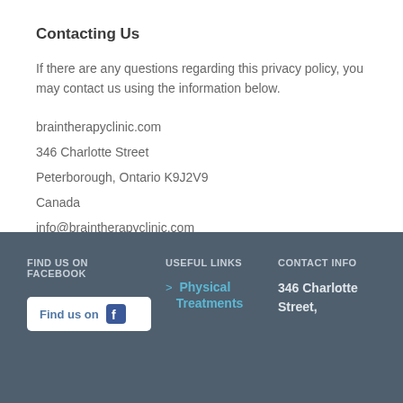Contacting Us
If there are any questions regarding this privacy policy, you may contact us using the information below.
braintherapyclinic.com
346 Charlotte Street
Peterborough, Ontario K9J2V9
Canada
info@braintherapyclinic.com
1 (705) 876-7349
FIND US ON FACEBOOK | USEFUL LINKS > Physical Treatments | CONTACT INFO 346 Charlotte Street,